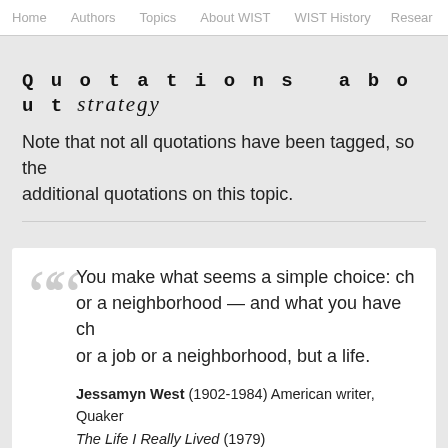Home   Authors   Topics   About WIST   WIST History   Resear
Quotations about  strategy
Note that not all quotations have been tagged, so the additional quotations on this topic.
You make what seems a simple choice: ch or a neighborhood — and what you have ch or a job or a neighborhood, but a life.

Jessamyn West (1902-1984) American writer, Quaker The Life I Really Lived (1979) (Source)